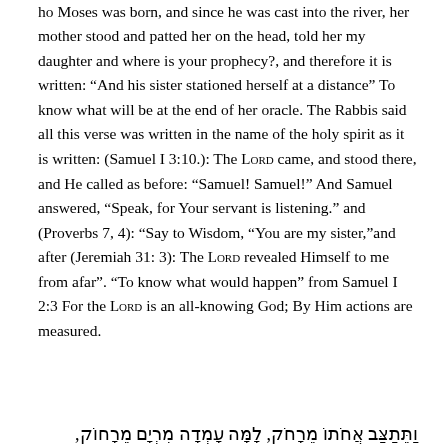ho Moses was born, and since he was cast into the river, her mother stood and patted her on the head, told her my daughter and where is your prophecy?, and therefore it is written: “And his sister stationed herself at a distance” To know what will be at the end of her oracle. The Rabbis said all this verse was written in the name of the holy spirit as it is written: (Samuel I 3:10.): The LORD came, and stood there, and He called as before: “Samuel! Samuel!” And Samuel answered, “Speak, for Your servant is listening.” and (Proverbs 7, 4): “Say to Wisdom, “You are my sister,”and after (Jeremiah 31: 3): The LORD revealed Himself to me from afar”. “To know what would happen” from Samuel I 2:3 For the LORD is an all-knowing God; By Him actions are measured.
ותתצב אחתו מרחוק, למה עמדה מרים מרחוק,